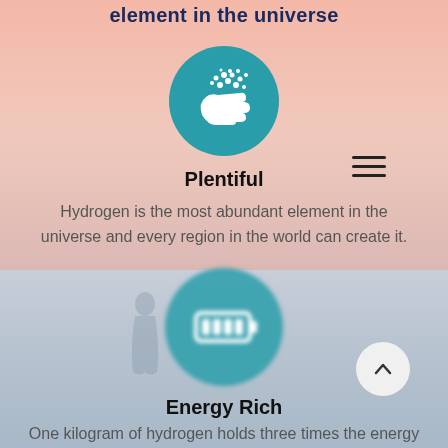element in the universe
[Figure (illustration): Teal circle icon with a hand holding dots/bubbles, representing plentiful hydrogen]
Plentiful
Hydrogen is the most abundant element in the universe and every region in the world can create it.
[Figure (illustration): Teal circle icon with a battery/energy symbol, representing energy richness of hydrogen]
Energy Rich
One kilogram of hydrogen holds three times the energy of one kilogram of crude oil.